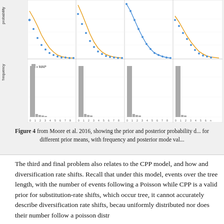[Figure (continuous-plot): Figure 4 from Moore et al. 2016, showing prior and posterior probability distributions (top row) and frequency/posterior mode bar charts (bottom row) for different prior means, across four panels showing number of events on x-axis. Top panels show exponentially decaying curves (blue dots = data, orange line = prior). Bottom panels show tall grey bars at 0 events with MAP legend marker.]
Figure 4 from Moore et al. 2016, showing the prior and posterior probability d... for different prior means, with frequency and posterior mode val...
The third and final problem also relates to the CPP model, and how and diversification rate shifts. Recall that under this model, events over the tree length, with the number of events following a Poisson while CPP is a valid prior for substitution-rate shifts, which occur tree, it cannot accurately describe diversification rate shifts, becau uniformly distributed nor does their number follow a poisson distr